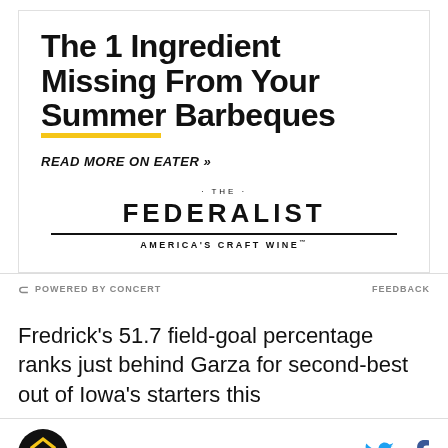The 1 Ingredient Missing From Your Summer Barbeques
READ MORE ON EATER »
[Figure (logo): The Federalist America's Craft Wine logo]
POWERED BY CONCERT   FEEDBACK
Fredrick's 51.7 field-goal percentage ranks just behind Garza for second-best out of Iowa's starters this
[Figure (logo): Iowa Hawkeyes shield logo at bottom left]
[Figure (other): Twitter and Facebook social share icons at bottom right]